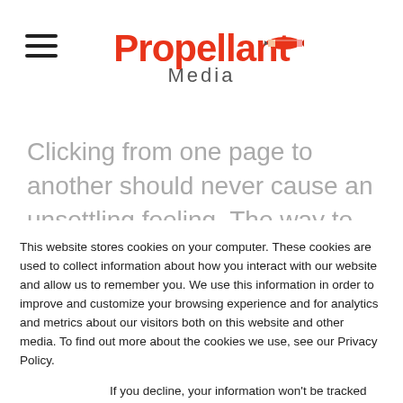[Figure (logo): Propellant Media logo with rocket/pencil graphic in orange-red, 'Propellant' in large red text and 'Media' in grey below]
Clicking from one page to another should never cause an unsettling feeling. The way to anchor the message is to use similar branding and images and text. That way, the visitor feels like it makes sense
This website stores cookies on your computer. These cookies are used to collect information about how you interact with our website and allow us to remember you. We use this information in order to improve and customize your browsing experience and for analytics and metrics about our visitors both on this website and other media. To find out more about the cookies we use, see our Privacy Policy.
If you decline, your information won’t be tracked when you visit this website. A single cookie will be used in your browser to remember your preference not to be tracked.
Accept
Decline